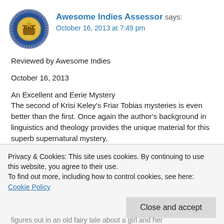[Figure (logo): Circular badge/seal logo for Awesome Indies with gold emblem on blue background]
Awesome Indies Assessor says:
October 16, 2013 at 7:49 pm
Reviewed by Awesome Indies
October 16, 2013
An Excellent and Eerie Mystery
The second of Krisi Keley's Friar Tobias mysteries is even better than the first. Once again the author's background in linguistics and theology provides the unique material for this superb supernatural mystery.
A man seeks Tobias's help for his foster son. He
Privacy & Cookies: This site uses cookies. By continuing to use this website, you agree to their use.
To find out more, including how to control cookies, see here: Cookie Policy
Close and accept
figures out in an old fairy tale about a girl and her